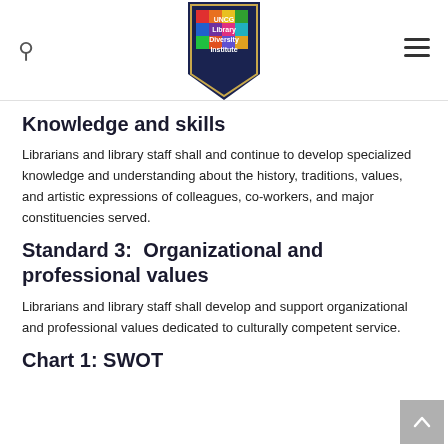UNCG Library Diversity Institute
Knowledge and skills
Librarians and library staff shall and continue to develop specialized knowledge and understanding about the history, traditions, values, and artistic expressions of colleagues, co-workers, and major constituencies served.
Standard 3:  Organizational and professional values
Librarians and library staff shall develop and support organizational and professional values dedicated to culturally competent service.
Chart 1: SWOT